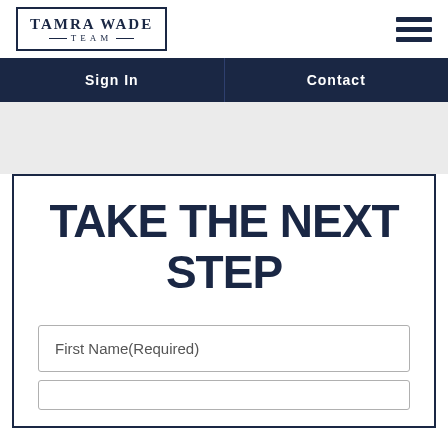TAMRA WADE TEAM
Sign In
Contact
TAKE THE NEXT STEP
First Name(Required)